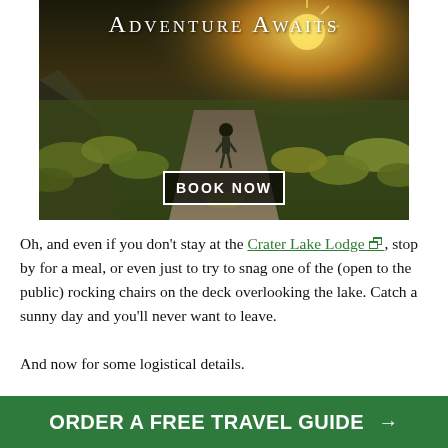[Figure (photo): Outdoor hiking trail photo with a person walking away into golden grasslands and rocks, dramatic sky with sun rays. Text overlay reads 'Adventure Awaits' in white at top. A 'BOOK NOW' button with black border appears in the lower center of the image.]
Oh, and even if you don't stay at the Crater Lake Lodge, stop by for a meal, or even just to try to snag one of the (open to the public) rocking chairs on the deck overlooking the lake. Catch a sunny day and you'll never want to leave.
And now for some logistical details.
ORDER A FREE TRAVEL GUIDE →